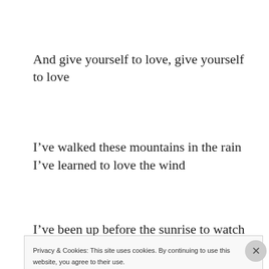And give yourself to love, give yourself to love
I’ve walked these mountains in the rain I’ve learned to love the wind
I’ve been up before the sunrise to watch the day begin
Privacy & Cookies: This site uses cookies. By continuing to use this website, you agree to their use.
To find out more, including how to control cookies, see here: Cookie Policy
Close and accept